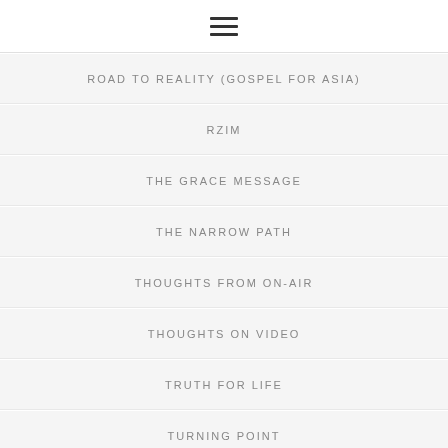☰
ROAD TO REALITY (GOSPEL FOR ASIA)
RZIM
THE GRACE MESSAGE
THE NARROW PATH
THOUGHTS FROM ON-AIR
THOUGHTS ON VIDEO
TRUTH FOR LIFE
TURNING POINT
VIDEO